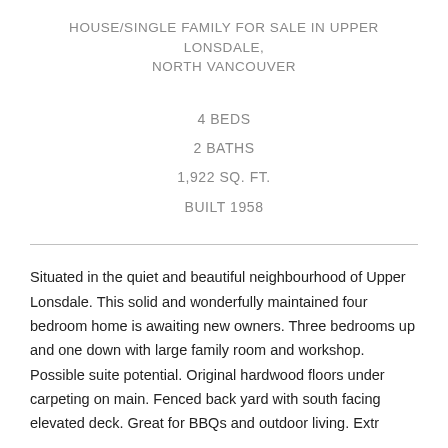HOUSE/SINGLE FAMILY FOR SALE IN UPPER LONSDALE, NORTH VANCOUVER
4 BEDS
2 BATHS
1,922 SQ. FT.
BUILT 1958
Situated in the quiet and beautiful neighbourhood of Upper Lonsdale. This solid and wonderfully maintained four bedroom home is awaiting new owners. Three bedrooms up and one down with large family room and workshop. Possible suite potential. Original hardwood floors under carpeting on main. Fenced back yard with south facing elevated deck. Great for BBQs and outdoor living. Extr...